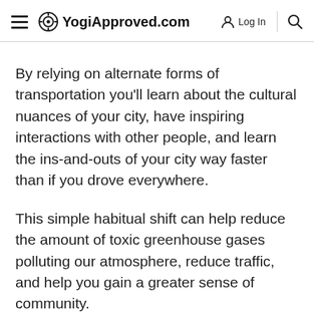YogiApproved.com | Log In | Search
By relying on alternate forms of transportation you'll learn about the cultural nuances of your city, have inspiring interactions with other people, and learn the ins-and-outs of your city way faster than if you drove everywhere.
This simple habitual shift can help reduce the amount of toxic greenhouse gases polluting our atmosphere, reduce traffic, and help you gain a greater sense of community.